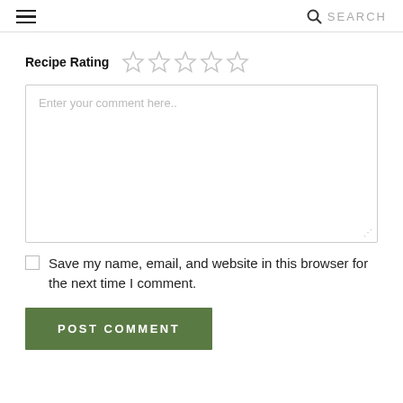☰  SEARCH
Recipe Rating ☆☆☆☆☆
Enter your comment here..
Save my name, email, and website in this browser for the next time I comment.
POST COMMENT